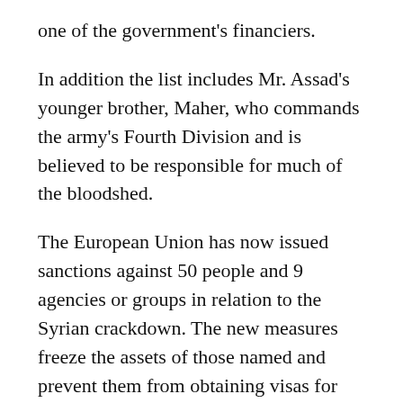one of the government's financiers.
In addition the list includes Mr. Assad's younger brother, Maher, who commands the army's Fourth Division and is believed to be responsible for much of the bloodshed.
The European Union has now issued sanctions against 50 people and 9 agencies or groups in relation to the Syrian crackdown. The new measures freeze the assets of those named and prevent them from obtaining visas for travel to European Union countries.
European diplomats said additional sanctions were likely to be imposed by the end of the week,